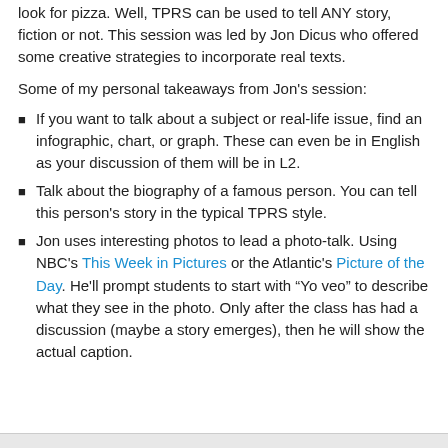look for pizza. Well, TPRS can be used to tell ANY story, fiction or not. This session was led by Jon Dicus who offered some creative strategies to incorporate real texts.
Some of my personal takeaways from Jon's session:
If you want to talk about a subject or real-life issue, find an infographic, chart, or graph. These can even be in English as your discussion of them will be in L2.
Talk about the biography of a famous person. You can tell this person's story in the typical TPRS style.
Jon uses interesting photos to lead a photo-talk. Using NBC's This Week in Pictures or the Atlantic's Picture of the Day. He'll prompt students to start with "Yo veo" to describe what they see in the photo. Only after the class has had a discussion (maybe a story emerges), then he will show the actual caption.